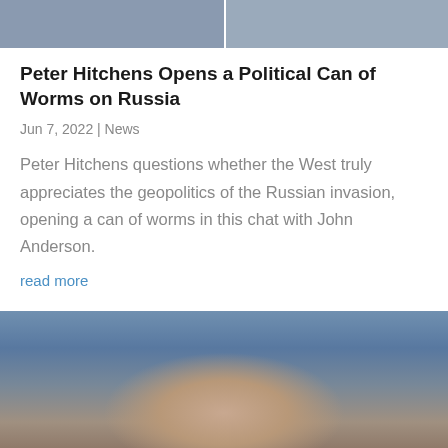[Figure (photo): Top portion of a photo showing two men in suits, cropped at the top of the page]
Peter Hitchens Opens a Political Can of Worms on Russia
Jun 7, 2022 | News
Peter Hitchens questions whether the West truly appreciates the geopolitics of the Russian invasion, opening a can of worms in this chat with John Anderson.
read more
[Figure (photo): Person in a grey long-sleeve shirt with clasped hands resting on an open book (Bible), viewed from above]